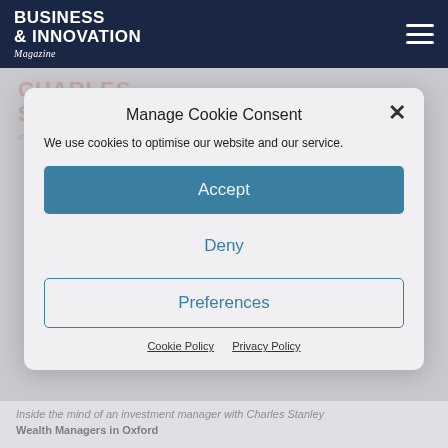BUSINESS & INNOVATION Magazine
[Figure (screenshot): Background webpage showing Charles Stanley investment manager article with a smiling woman photo]
Manage Cookie Consent
We use cookies to optimise our website and our service.
Accept
Deny
Preferences
Cookie Policy   Privacy Policy
Inside the mind of an investment manager with Charles Stanley Wealth Managers in Oxford